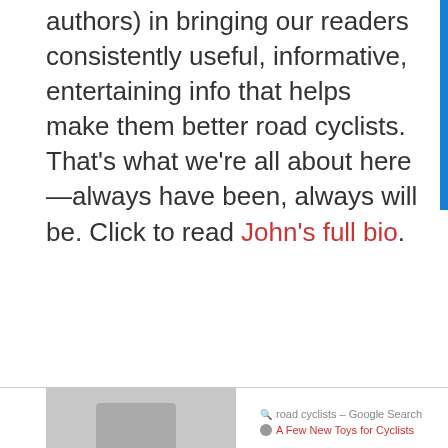authors) in bringing our readers consistently useful, informative, entertaining info that helps make them better road cyclists. That's what we're all about here—always have been, always will be. Click to read John's full bio.
[Figure (screenshot): Bottom partial screenshot showing a thumbnail image on the left and browser tab links on the right including 'road cyclists - Google Search' and 'A Few New Toys for Cyclists']